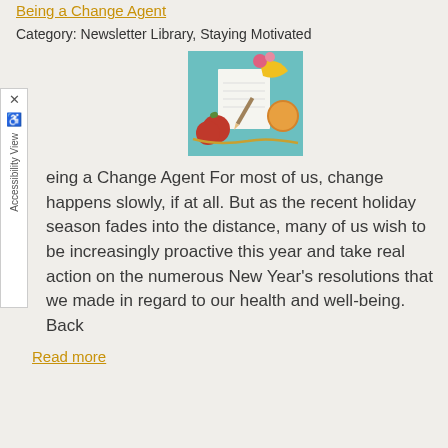Being a Change Agent
Category: Newsletter Library, Staying Motivated
[Figure (photo): A flat-lay photo of fruits (apples, banana, melon), a blank notepad, and a pencil on a teal background]
Being a Change Agent For most of us, change happens slowly, if at all. But as the recent holiday season fades into the distance, many of us wish to be increasingly proactive this year and take real action on the numerous New Year's resolutions that we made in regard to our health and well-being. Back
Read more